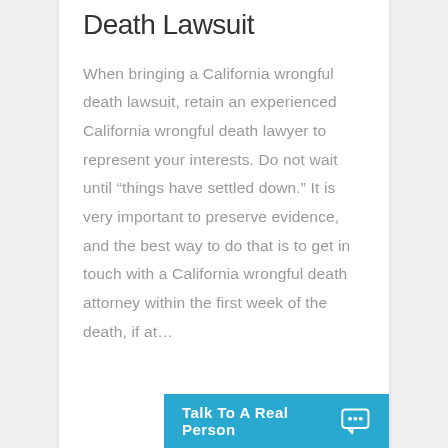Death Lawsuit
When bringing a California wrongful death lawsuit, retain an experienced California wrongful death lawyer to represent your interests. Do not wait until “things have settled down.” It is very important to preserve evidence, and the best way to do that is to get in touch with a California wrongful death attorney within the first week of the death, if at…
Talk To A Real Person